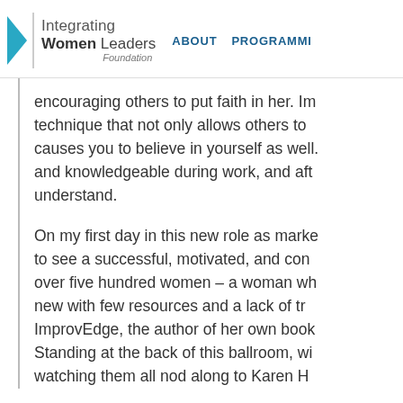Integrating Women Leaders Foundation | ABOUT | PROGRAMMING
encouraging others to put faith in her. Im technique that not only allows others to causes you to believe in yourself as well. and knowledgeable during work, and aft understand.
On my first day in this new role as marke to see a successful, motivated, and con over five hundred women – a woman wh new with few resources and a lack of tr ImprovEdge, the author of her own boo Standing at the back of this ballroom, w watching them all nod along to Karen H